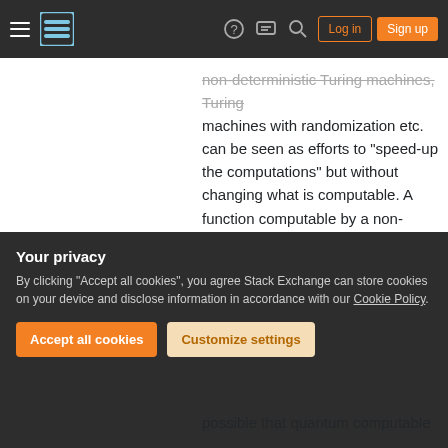Stack Exchange navigation bar with hamburger menu, logo, help, chat, search icons, Log in and Sign up buttons
non-deterministic Turing machines, Turing machines with randomization etc. can be seen as efforts to "speed-up the computations" but without changing what is computable. A function computable by a non-deterministic Turing machine is also computable by a deterministic Turing machine, although the former may run in polynomial time while the latter in exponential time. I always thought that quantum computations will bring in some sort of "exponential speed-up" but again without changing the underlying notion of computable
possible that quantum computable
Your privacy
By clicking "Accept all cookies", you agree Stack Exchange can store cookies on your device and disclose information in accordance with our Cookie Policy.
Accept all cookies
Customize settings